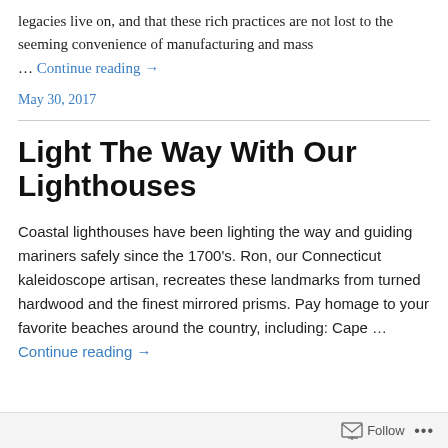legacies live on, and that these rich practices are not lost to the seeming convenience of manufacturing and mass … Continue reading →
May 30, 2017
Light The Way With Our Lighthouses
Coastal lighthouses have been lighting the way and guiding mariners safely since the 1700's. Ron, our Connecticut kaleidoscope artisan, recreates these landmarks from turned hardwood and the finest mirrored prisms. Pay homage to your favorite beaches around the country, including: Cape … Continue reading →
Follow